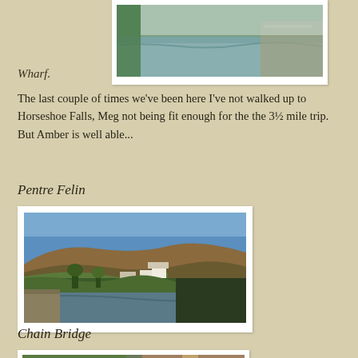[Figure (photo): Partial photo of a canal with water and trees, cropped at top of page]
Wharf.
The last couple of times we've been here I've not walked up to Horseshoe Falls, Meg not being fit enough for the the 3½ mile trip. But Amber is well able...
Pentre Felin
[Figure (photo): Photo of a canal with a village and hillside in the background, blue sky, taken from along the towpath]
Chain Bridge
[Figure (photo): Partial photo at bottom showing trees and a path, cropped]